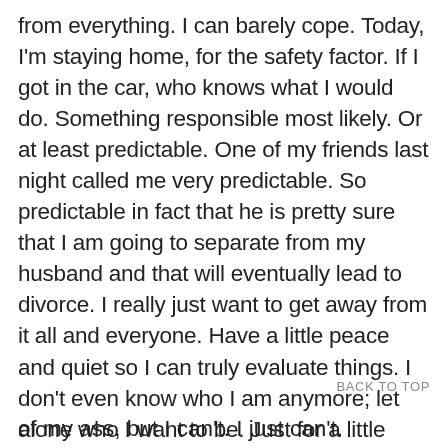from everything. I can barely cope. Today, I'm staying home, for the safety factor. If I got in the car, who knows what I would do. Something responsible most likely. Or at least predictable. One of my friends last night called me very predictable. So predictable in fact that he is pretty sure that I am going to separate from my husband and that will eventually lead to divorce. I really just want to get away from it all and everyone. Have a little peace and quiet so I can truly evaluate things. I don't even know who I am anymore; let alone who I want to be. Just for a little while. I know there is no out. Not under God. But can't I just have a little break? Just for a few days (or weeks), or until things are a little more under control? Till I can face reality with a little more composure and clarity. Everyone is basically telling me to get my head out of my ass, but I can't. I just can't.